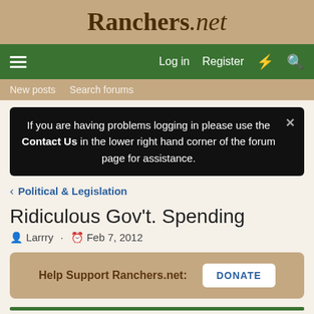Ranchers.net
Log in  Register
New posts  Search forums
If you are having problems logging in please use the Contact Us in the lower right hand corner of the forum page for assistance.
< Political & Legislation
Ridiculous Gov't. Spending
Larrry · Feb 7, 2012
Help Support Ranchers.net: DONATE